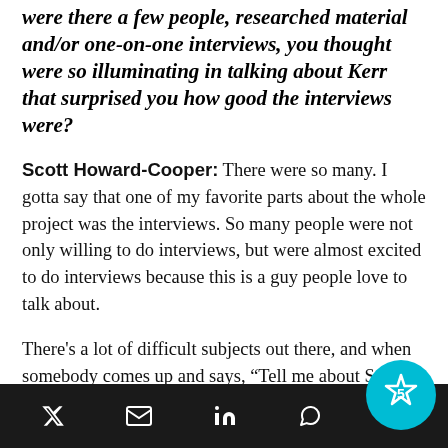were there a few people, researched material and/or one-on-one interviews, you thought were so illuminating in talking about Kerr that surprised you how good the interviews were?
Scott Howard-Cooper: There were so many. I gotta say that one of my favorite parts about the whole project was the interviews. So many people were not only willing to do interviews, but were almost excited to do interviews because this is a guy people love to talk about.
There's a lot of difficult subjects out there, and when somebody comes up and says, “Tell me about Steve Kerr,” they’ll just talk on and on because he’s a great subject. There’s so much